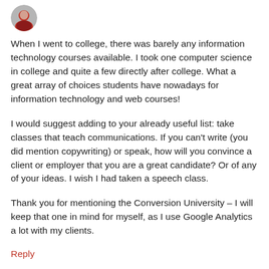[Figure (photo): Small circular avatar photo of a woman]
When I went to college, there was barely any information technology courses available. I took one computer science in college and quite a few directly after college. What a great array of choices students have nowadays for information technology and web courses!
I would suggest adding to your already useful list: take classes that teach communications. If you can't write (you did mention copywriting) or speak, how will you convince a client or employer that you are a great candidate? Or of any of your ideas. I wish I had taken a speech class.
Thank you for mentioning the Conversion University – I will keep that one in mind for myself, as I use Google Analytics a lot with my clients.
Reply